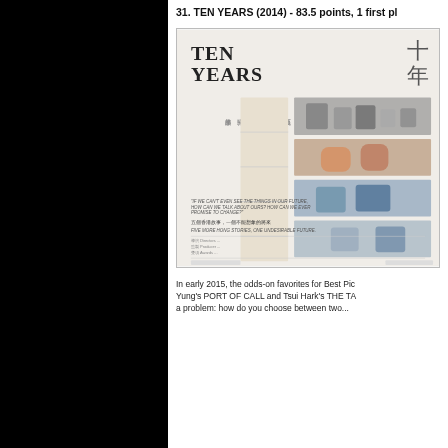31. TEN YEARS (2014) - 83.5 points, 1 first pl...
[Figure (photo): Movie poster for Ten Years (2014), a Hong Kong film. The poster shows the title 'TEN YEARS' in large text with Chinese characters, and a vertical strip of five film stills showing different scenes and characters in black and white and color.]
In early 2015, the odds-on favorites for Best Pic... Yung's PORT OF CALL and Tsui Hark's THE TA... a problem: how do you choose between two...